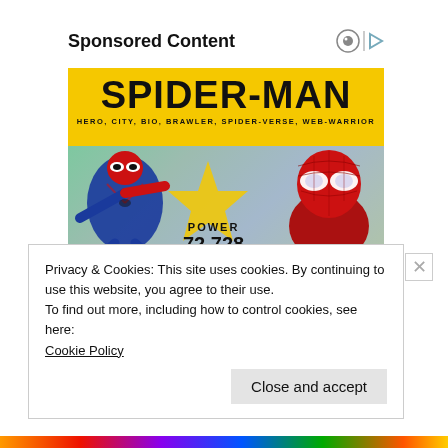Sponsored Content
[Figure (illustration): Spider-Man branded card/game advertisement showing SPIDER-MAN title in large black bold text on yellow background, subtitle HERO, CITY, BIO, BRAWLER, SPIDER-VERSE, WEB-WARRIOR, two Spider-Man characters (animated and live-action style), and POWER 72,728 badge]
Privacy & Cookies: This site uses cookies. By continuing to use this website, you agree to their use.
To find out more, including how to control cookies, see here:
Cookie Policy
Close and accept